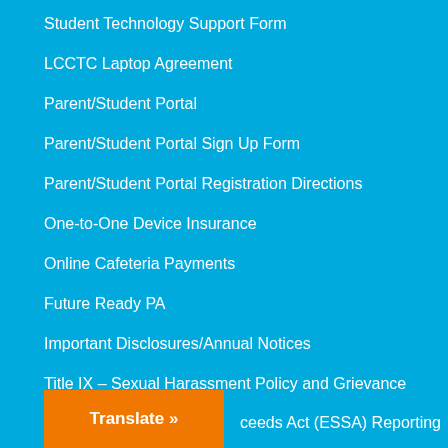Student Technology Support Form
LCCTC Laptop Agreement
Parent/Student Portal
Parent/Student Portal Sign Up Form
Parent/Student Portal Registration Directions
One-to-One Device Insurance
Online Cafeteria Payments
Future Ready PA
Important Disclosures/Annual Notices
Title IX – Sexual Harassment Policy and Grievance Procedures
Every Student Succeeds Act (ESSA) Reporting